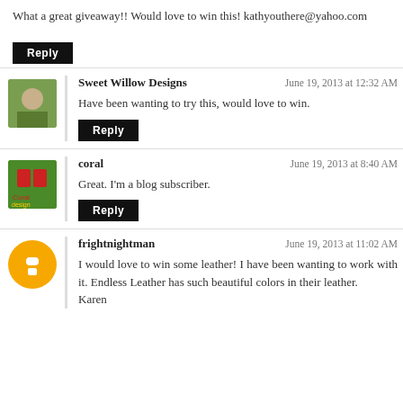What a great giveaway!! Would love to win this! kathyouthere@yahoo.com
Reply
Sweet Willow Designs
June 19, 2013 at 12:32 AM
Have been wanting to try this, would love to win.
Reply
coral
June 19, 2013 at 8:40 AM
Great. I'm a blog subscriber.
Reply
frightnightman
June 19, 2013 at 11:02 AM
I would love to win some leather! I have been wanting to work with it. Endless Leather has such beautiful colors in their leather.
Karen